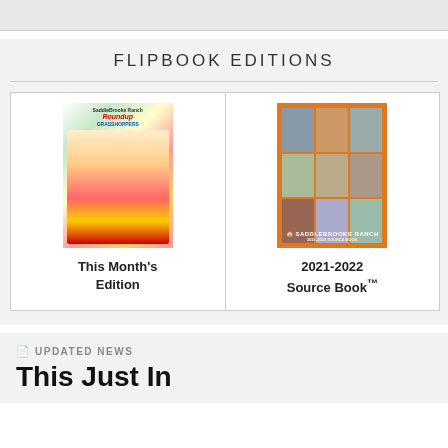FLIPBOOK EDITIONS
[Figure (illustration): Cover of SaddleBrooke Ranch Roundup magazine showing grasshoppers edition with community photos]
This Month's Edition
[Figure (illustration): Cover of SaddleBrooke Ranch 2021-2022 Source Book with orange background and photo collage]
2021-2022 Source Book™
UPDATED NEWS
This Just In